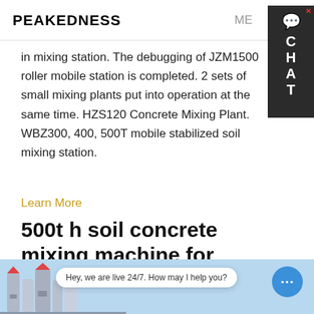PEAKEDNESS
in mixing station. The debugging of JZM1500 roller mobile station is completed. 2 sets of small mixing plants put into operation at the same time. HZS120 Concrete Mixing Plant. WBZ300, 400, 500T mobile stabilized soil mixing station.
Learn More
500t h soil concrete mixing machine for construction
[Figure (photo): Photo of industrial concrete mixing plant equipment with a live chat popup bubble saying 'Hey, we are live 24/7. How may I help you?' and a blue chat button with ellipsis icon.]